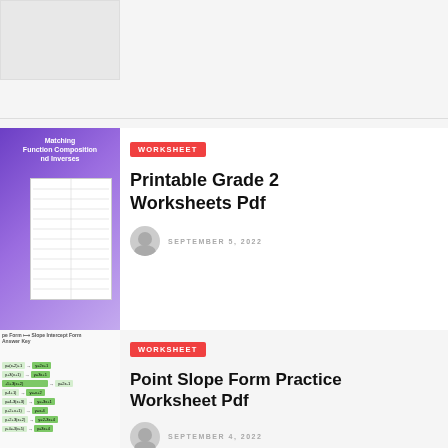[Figure (illustration): Thumbnail of a math worksheet with purple background and white paper overlay showing 'Matching Function Composition and Inverses']
PREVIOUS POST
WORKSHEET
Printable Grade 2 Worksheets Pdf
SEPTEMBER 5, 2022
NEXT POST
WORKSHEET
Point Slope Form Practice Worksheet Pdf
SEPTEMBER 4, 2022